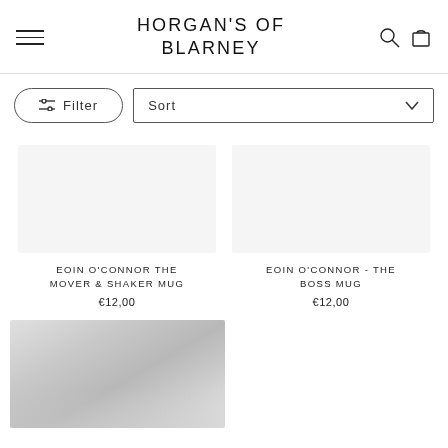HORGAN'S OF BLARNEY
Filter
Sort
EOIN O'CONNOR THE MOVER & SHAKER MUG
€12,00
EOIN O'CONNOR - THE BOSS MUG
€12,00
[Figure (photo): Partial product image (bottom-left), cut off at page edge]